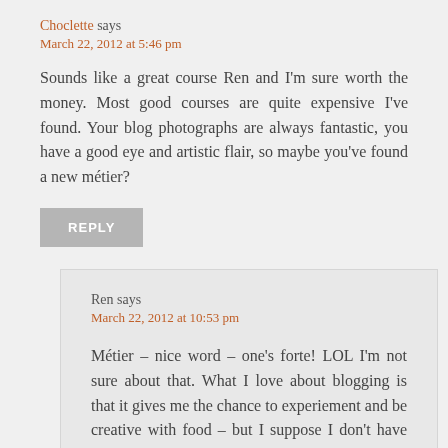Choclette says
March 22, 2012 at 5:46 pm
Sounds like a great course Ren and I'm sure worth the money. Most good courses are quite expensive I've found. Your blog photographs are always fantastic, you have a good eye and artistic flair, so maybe you've found a new métier?
REPLY
Ren says
March 22, 2012 at 10:53 pm
Métier – nice word – one's forte! LOL I'm not sure about that. What I love about blogging is that it gives me the chance to experiement and be creative with food – but I suppose I don't have the